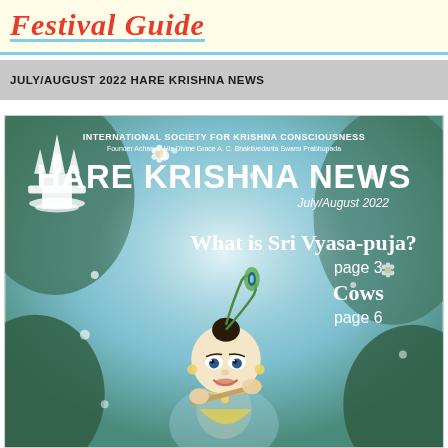Festival Guide
JULY/AUGUST 2022 HARE KRISHNA NEWS
[Figure (illustration): Magazine cover of Hare Krishna News July/August 2022. Features an illustration of young Krishna playing flute against a blue floral background. Text includes: INTERNATIONAL SOCIETY FOR KRISHNA CONSCIOUSNESS, Founder Acharya: His Divine Grace A. C. Bhaktivedanta Swami Prabhupada, HARE KRISHNA NEWS, July/August 2022, What is Sri Vyasa-puja?, page 3, Cows, page 6. An ISKCON temple logo is top-left.]